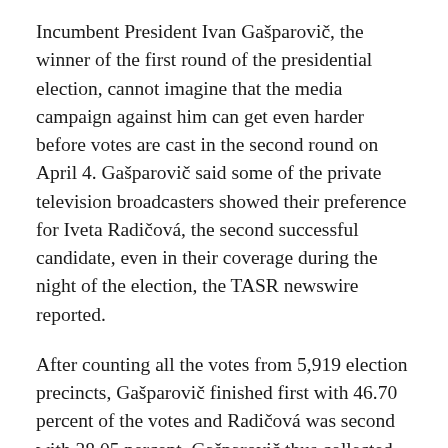Incumbent President Ivan Gašparovič, the winner of the first round of the presidential election, cannot imagine that the media campaign against him can get even harder before votes are cast in the second round on April 4. Gašparovič said some of the private television broadcasters showed their preference for Iveta Radičová, the second successful candidate, even in their coverage during the night of the election, the TASR newswire reported.
After counting all the votes from 5,919 election precincts, Gašparovič finished first with 46.70 percent of the votes and Radičová was second with 38.05 percent. Gašparovič thus collected 876,061 votes while 713,735 eligible voters wanted to see Radičová moving to the presidential palace, according to the